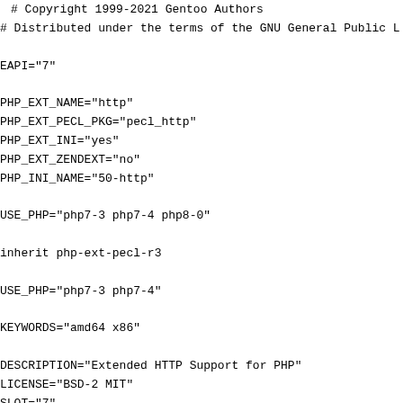# Copyright 1999-2021 Gentoo Authors
# Distributed under the terms of the GNU General Public L

EAPI="7"

PHP_EXT_NAME="http"
PHP_EXT_PECL_PKG="pecl_http"
PHP_EXT_INI="yes"
PHP_EXT_ZENDEXT="no"
PHP_INI_NAME="50-http"

USE_PHP="php7-3 php7-4 php8-0"

inherit php-ext-pecl-r3

USE_PHP="php7-3 php7-4"

KEYWORDS="amd64 x86"

DESCRIPTION="Extended HTTP Support for PHP"
LICENSE="BSD-2 MIT"
SLOT="7"
IUSE="ssl curl_ssl_gnutls curl_ssl_nss +curl_ssl_openssl'

# Patch gets cookies working with curl 7.77, but further
# Just set min version for this short time to live branch
COMMON_DEPEND="app-arch/brotli:=
        dev-libs/libevent
        dev-php/pecl-propro:7[php_targets_php7-3(-)?php
          dev-php/pecl-raphf:2.0.1:7[php_targets_php7-3(